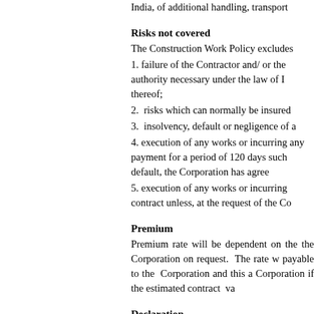India, of additional handling, transport
Risks not covered
The Construction Work Policy excludes
1. failure of the Contractor and/ or the authority necessary under the law of I thereof;
2.  risks which can normally be insured
3.  insolvency, default or negligence of a
4. execution of any works or incurring any payment for a period of 120 days such default, the Corporation has agree
5. execution of any works or incurring contract unless, at the request of the Co
Premium
Premium rate will be dependent on the the Corporation on request.  The rate w payable to the  Corporation and this a Corporation if the estimated contract  va
Declaration
The Contractor is required to submit to